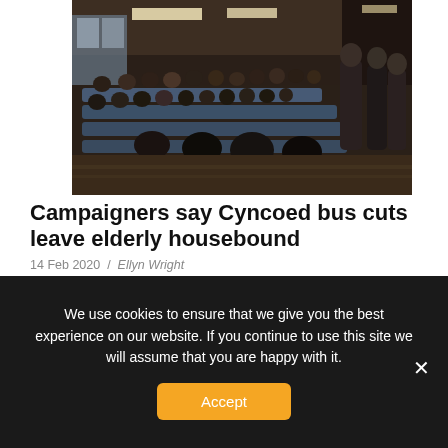[Figure (photo): Indoor community meeting with many elderly people seated in rows in a large hall with blue seating, bright overhead lights, and some people standing on the right side.]
Campaigners say Cyncoed bus cuts leave elderly housebound
14 Feb 2020 / Ellyn Wright
Reduced services are unfair, unreliable and unrealistic, say residents BUS service cuts around Roath Park Lake are isolating elderly residents in Cyncoed,...
We use cookies to ensure that we give you the best experience on our website. If you continue to use this site we will assume that you are happy with it.